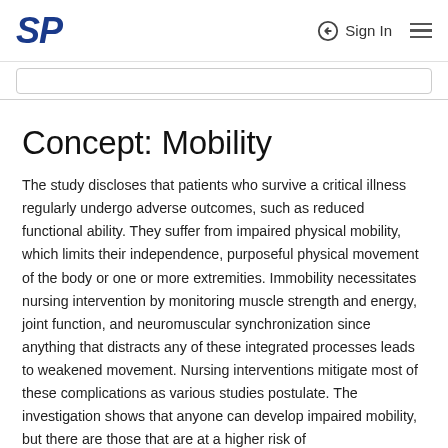SP  Sign In
Concept: Mobility
The study discloses that patients who survive a critical illness regularly undergo adverse outcomes, such as reduced functional ability. They suffer from impaired physical mobility, which limits their independence, purposeful physical movement of the body or one or more extremities. Immobility necessitates nursing intervention by monitoring muscle strength and energy, joint function, and neuromuscular synchronization since anything that distracts any of these integrated processes leads to weakened movement. Nursing interventions mitigate most of these complications as various studies postulate. The investigation shows that anyone can develop impaired mobility, but there are those that are at a higher risk of